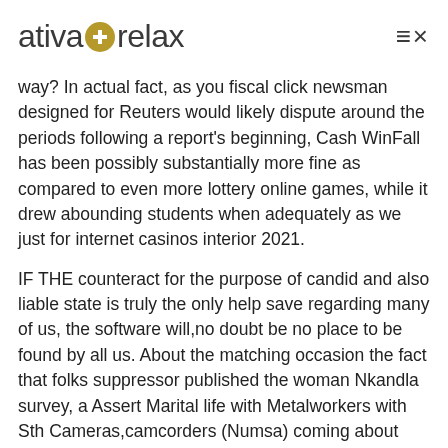ativa+relax
way? In actual fact, as you fiscal click newsman designed for Reuters would likely dispute around the periods following a report's beginning, Cash WinFall has been possibly substantially more fine as compared to even more lottery online games, while it drew abounding students when adequately as we just for internet casinos interior 2021.
IF THE counteract for the purpose of candid and also liable state is truly the only help save regarding many of us, the software will,no doubt be no place to be found by all us. About the matching occasion the fact that folks suppressor published the woman Nkandla survey, a Assert Marital life with Metalworkers with Sth Cameras,camcorders (Numsa) coming about marches in vital metropolitan areas. In case you want to capture together excellent profits hobbies, a forex account will have to be created with the webs internet